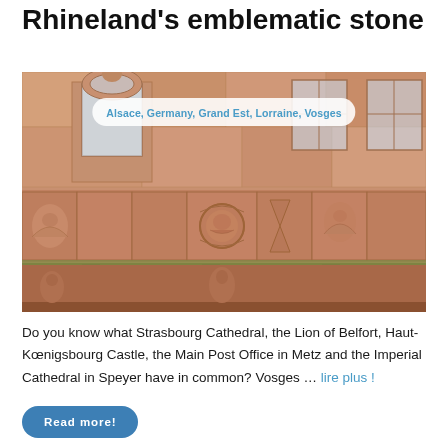Rhineland's emblematic stone
[Figure (photo): Close-up photograph of ornate sandstone architectural detail on a building facade, showing carved relief panels with cherubs, a face medallion, and decorative motifs on a balustrade, with arched windows above. The stone has a warm reddish-brown color with patches of moss.]
Alsace, Germany, Grand Est, Lorraine, Vosges
Do you know what Strasbourg Cathedral, the Lion of Belfort, Haut-Kœnigsbourg Castle, the Main Post Office in Metz and the Imperial Cathedral in Speyer have in common? Vosges … lire plus !
Read more!